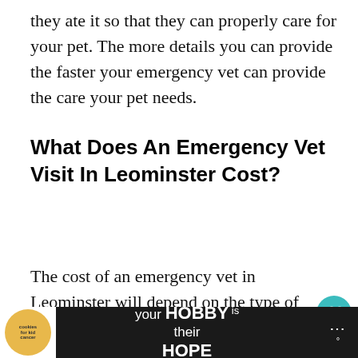they ate it so that they can properly care for your pet. The more details you can provide the faster your emergency vet can provide the care your pet needs.
What Does An Emergency Vet Visit In Leominster Cost?
The cost of an emergency vet in Leominster will depend on the type of treatment your pet needs. For example, an overnight stay at an animal hospital can re...
[Figure (screenshot): Advertisement banner at the bottom: cookies for kid cancer logo on left, 'your HOBBY is their HOPE' text in center on dark background, menu dots on right]